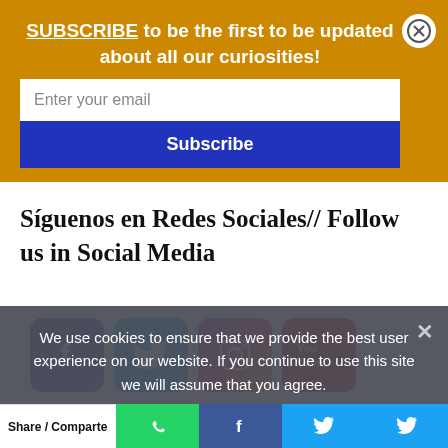SUBSCRIBE to be the first to be updated about all our curiosities!
Enter your email
Subscribe
Síguenos en Redes Sociales// Follow us in Social Media
[Figure (illustration): Social media icons: Facebook, Twitter, Instagram, YouTube]
We use cookies to ensure that we provide the best user experience on our website. If you continue to use this site we will assume that you agree.
Agree   Privacy policy
Share / Comparte